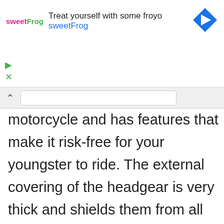[Figure (screenshot): SweetFrog frozen yogurt advertisement banner with logo, text 'Treat yourself with some froyo sweetFrog', and a blue diamond navigation arrow icon. Below the ad are green play and X navigation icons, and a scroll-up chevron with a tab bar.]
motorcycle and has features that make it risk-free for your youngster to ride. The external covering of the headgear is very thick and shields them from all kinds of shock. While your kid is riding, the 12 outdoor cooling vents will ensure that they have adequate room to breathe, along with making their ride loosened up and also comfortable. An incorporated